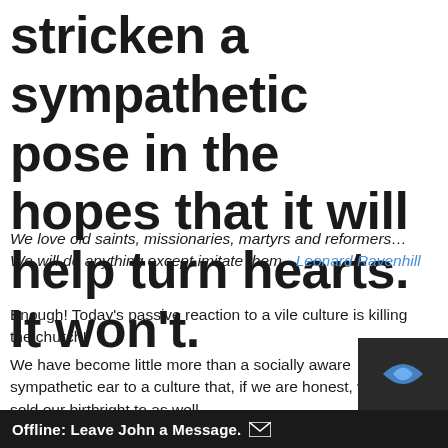stricken a sympathetic pose in the hopes that it will help turn hearts. It won't.
We love old saints, missionaries, martyrs and reformers… We will do anything except imitate them.- Leonard Ravenhill
Enough! Today's passive reaction to a vile culture is killing the church!
We have become little more than a socially aware sympathetic ear to a culture that, if we are honest, we have sold our birthright to as well.
The emerging strategies to i... powerful, bold, prophetic mes...
Offline: Leave John a Message.